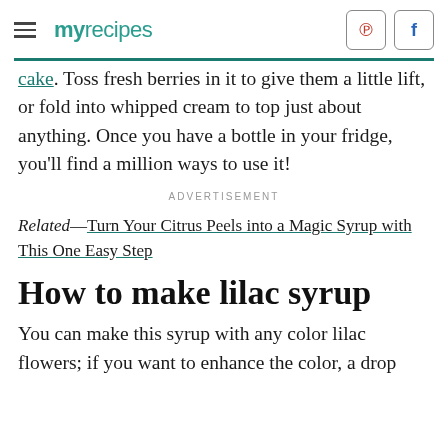myrecipes
cake. Toss fresh berries in it to give them a little lift, or fold into whipped cream to top just about anything. Once you have a bottle in your fridge, you'll find a million ways to use it!
ADVERTISEMENT
Related—Turn Your Citrus Peels into a Magic Syrup with This One Easy Step
How to make lilac syrup
You can make this syrup with any color lilac flowers; if you want to enhance the color, a drop